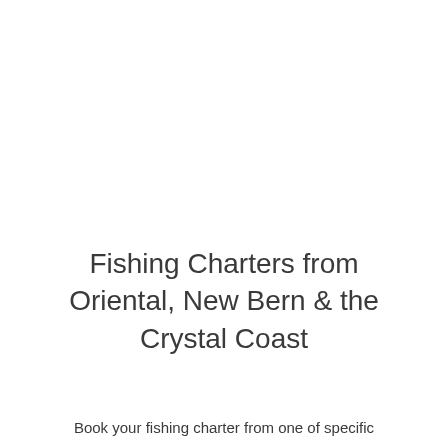Fishing Charters from Oriental, New Bern & the Crystal Coast
Book your fishing charter from one of specific